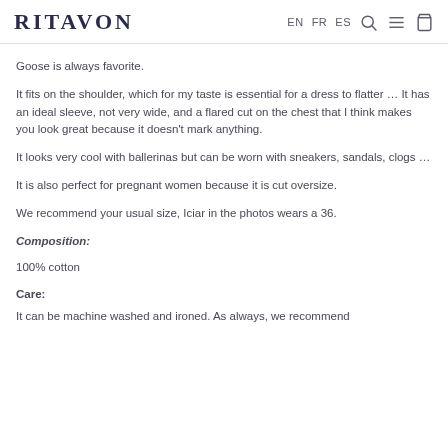RITAVON  EN FR ES
Goose is always favorite.
It fits on the shoulder, which for my taste is essential for a dress to flatter … It has an ideal sleeve, not very wide, and a flared cut on the chest that I think makes you look great because it doesn't mark anything.
It looks very cool with ballerinas but can be worn with sneakers, sandals, clogs …
It is also perfect for pregnant women because it is cut oversize.
We recommend your usual size, Iciar in the photos wears a 36.
Composition:
100% cotton
Care:
It can be machine washed and ironed. As always, we recommend